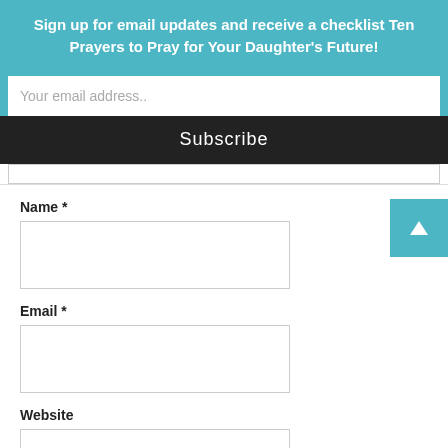Sign up for email updates and receive a checklist Ten Prayers to Pray for Your Daughter's Future!
Your email address..
Subscribe
Name *
Email *
Website
Post Comment